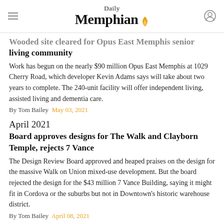Daily Memphian
Wooded site cleared for Opus East Memphis senior living community
Work has begun on the nearly $90 million Opus East Memphis at 1029 Cherry Road, which developer Kevin Adams says will take about two years to complete. The 240-unit facility will offer independent living, assisted living and dementia care.
By Tom Bailey   May 03, 2021
April 2021
Board approves designs for The Walk and Clayborn Temple, rejects 7 Vance
The Design Review Board approved and heaped praises on the design for the massive Walk on Union mixed-use development. But the board rejected the design for the $43 million 7 Vance Building, saying it might fit in Cordova or the suburbs but not in Downtown's historic warehouse district.
By Tom Bailey   April 08, 2021